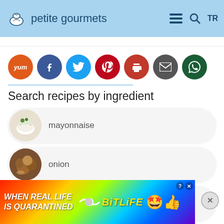petite gourmets
[Figure (infographic): Social sharing buttons: Yummly (orange), Facebook (dark blue), Twitter (blue), Pinterest (red), Print (red), Email (grey), WhatsApp (dark green)]
Search recipes by ingredient
mayonnaise
onion
dill pickle relish
[Figure (infographic): Advertisement banner: BitLife game ad with rainbow background, text 'WHEN REAL LIFE IS QUARANTINED' and 'BitLife' logo with emoji]